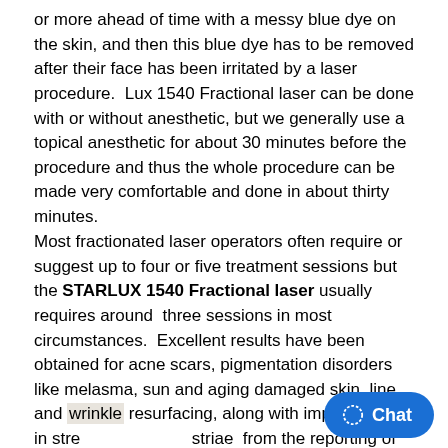or more ahead of time with a messy blue dye on the skin, and then this blue dye has to be removed after their face has been irritated by a laser procedure.  Lux 1540 Fractional laser can be done with or without anesthetic, but we generally use a topical anesthetic for about 30 minutes before the procedure and thus the whole procedure can be made very comfortable and done in about thirty minutes.
Most fractionated laser operators often require or suggest up to four or five treatment sessions but the STARLUX 1540 Fractional laser usually requires around  three sessions in most circumstances.  Excellent results have been obtained for acne scars, pigmentation disorders like melasma, sun and aging damaged skin, line and wrinkle resurfacing, along with improvement in stretch marks and striae  from the reporting of clinical research